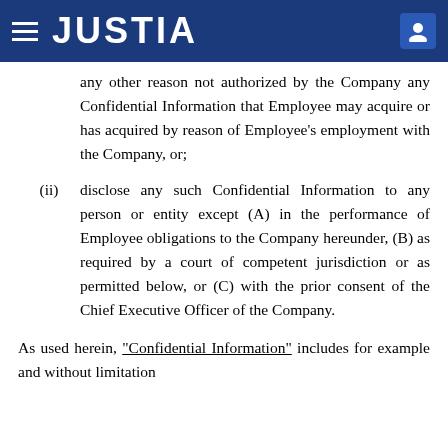JUSTIA
any other reason not authorized by the Company any Confidential Information that Employee may acquire or has acquired by reason of Employee’s employment with the Company, or;
(ii) disclose any such Confidential Information to any person or entity except (A) in the performance of Employee obligations to the Company hereunder, (B) as required by a court of competent jurisdiction or as permitted below, or (C) with the prior consent of the Chief Executive Officer of the Company.
As used herein, “Confidential Information” includes for example and without limitation